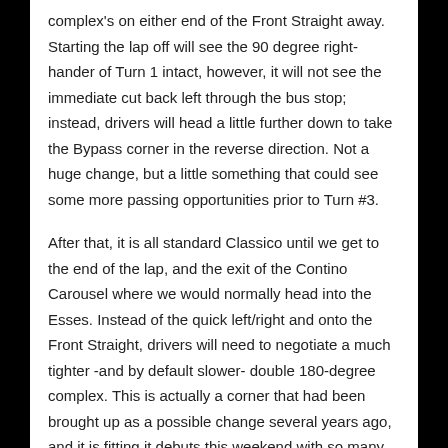complex's on either end of the Front Straight away. Starting the lap off will see the 90 degree right-hander of Turn 1 intact, however, it will not see the immediate cut back left through the bus stop; instead, drivers will head a little further down to take the Bypass corner in the reverse direction. Not a huge change, but a little something that could see some more passing opportunities prior to Turn #3.

After that, it is all standard Classico until we get to the end of the lap, and the exit of the Contino Carousel where we would normally head into the Esses. Instead of the quick left/right and onto the Front Straight, drivers will need to negotiate a much tighter -and by default slower- double 180-degree complex. This is actually a corner that had been brought up as a possible change several years ago, and it is fitting it debuts this weekend with so many old school drivers in the field. Neither of these two new sections has been run before, and none of our drivers will have a chance to test on it in advance, so the early laps especially should